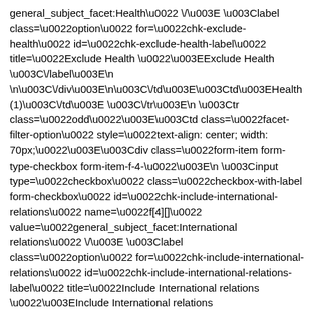general_subject_facet:Health\u0022 \/\u003E \u003Clabel class=\u0022option\u0022 for=\u0022chk-exclude-health\u0022 id=\u0022chk-exclude-health-label\u0022 title=\u0022Exclude Health \u0022\u003EExclude Health \u003C\/label\u003E\n \n\u003C\/div\u003E\n\u003C\/td\u003E\u003Ctd\u003EHealth (1)\u003C\/td\u003E \u003C\/tr\u003E\n \u003Ctr class=\u0022odd\u0022\u003E\u003Ctd class=\u0022facet-filter-option\u0022 style=\u0022text-align: center; width: 70px;\u0022\u003E\u003Cdiv class=\u0022form-item form-type-checkbox form-item-f-4-\u0022\u003E\n \u003Cinput type=\u0022checkbox\u0022 class=\u0022checkbox-with-label form-checkbox\u0022 id=\u0022chk-include-international-relations\u0022 name=\u0022f[4][]\u0022 value=\u0022general_subject_facet:International relations\u0022 \/\u003E \u003Clabel class=\u0022option\u0022 for=\u0022chk-include-international-relations\u0022 id=\u0022chk-include-international-relations-label\u0022 title=\u0022Include International relations \u0022\u003EInclude International relations \u003C\/label\u003E\n \n\u003C\/div\u003E\n\u003C\/td\u003E\u003Ctd\u003E\u003Ctd class=\u0022facet-filter-option\u0022 style=\u0022text-align: center; width: 70px;\u0022\u003E\u003Cdiv class=\u0022form-item form-type-checkbox form-item-f-\u0022\u003E\n \u003Cinput type=\u0022checkbox\u0022 class=\u0022checkbox-with-label form-checkbox\u0022 id=\u0022chk-exclude-